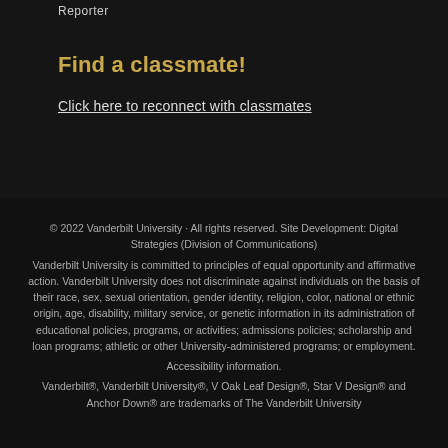Reporter
Find a classmate!
Click here to reconnect with classmates
© 2022 Vanderbilt University · All rights reserved. Site Development: Digital Strategies (Division of Communications) Vanderbilt University is committed to principles of equal opportunity and affirmative action. Vanderbilt University does not discriminate against individuals on the basis of their race, sex, sexual orientation, gender identity, religion, color, national or ethnic origin, age, disability, military service, or genetic information in its administration of educational policies, programs, or activities; admissions policies; scholarship and loan programs; athletic or other University-administered programs; or employment. Accessibility information. Vanderbilt®, Vanderbilt University®, V Oak Leaf Design®, Star V Design® and Anchor Down® are trademarks of The Vanderbilt University